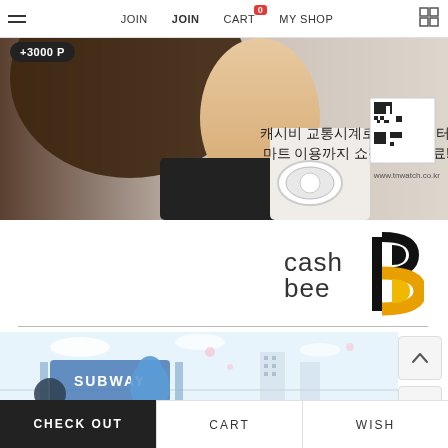JOIN  JOIN  CART  MY SHOP
+3000 P
[Figure (photo): A woman wearing a white smart watch with Korean text and a QR code for www.tnwatch.co.kr]
[Figure (logo): cashbee logo with a yellow and black bee letter b]
[Figure (illustration): Subway station entrance illustration with SUBWAY sign]
CHECK OUT  CART  WISH